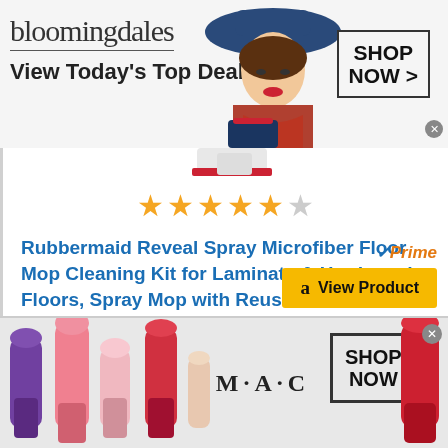[Figure (screenshot): Bloomingdales advertisement banner with logo, tagline 'View Today's Top Deals!', woman model in blue hat, and SHOP NOW button]
[Figure (screenshot): Product listing page showing star rating (4.5 stars), product title in blue, Amazon Prime badge and yellow View Product button]
Rubbermaid Reveal Spray Microfiber Floor Mop Cleaning Kit for Laminate & Hardwood Floors, Spray Mop with Reusable Washable Pads, Commercial Mop
[Figure (screenshot): MAC Cosmetics advertisement banner with lipsticks, MAC logo, and SHOP NOW button]